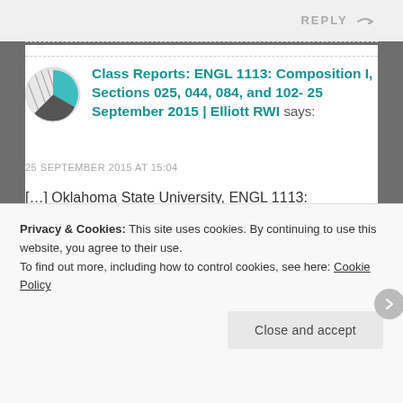REPLY
Class Reports: ENGL 1113: Composition I, Sections 025, 044, 084, and 102- 25 September 2015 | Elliott RWI says:
25 SEPTEMBER 2015 AT 15:04
[…] Oklahoma State University, ENGL 1113: Composition I–Textual Analysis […]
Privacy & Cookies: This site uses cookies. By continuing to use this website, you agree to their use.
To find out more, including how to control cookies, see here: Cookie Policy
Close and accept